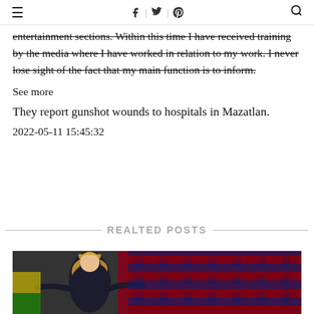≡  f | t | p  🔍
entertainment sections. Within this time I have received training by the media where I have worked in relation to my work. I never lose sight of the fact that my main function is to inform.
See more
They report gunshot wounds to hospitals in Mazatlan.
2022-05-11 15:45:32
REALTED POSTS
[Figure (photo): Soccer player with long hair celebrating in front of red stadium seats]